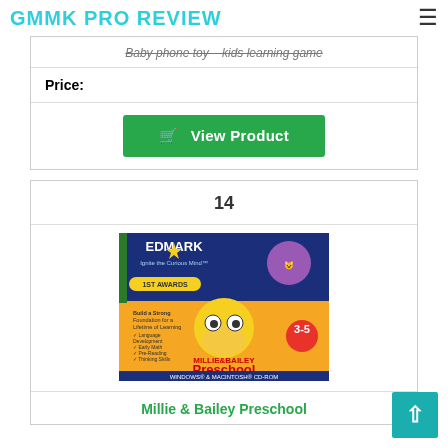GMMK PRO REVIEW
Baby phone toy - kids learning game
Price:
View Product
14
[Figure (photo): Product box image for Millie & Bailey Preschool educational software by Edmark, ages 3-5, Windows & Macintosh CD-ROM]
Millie & Bailey Preschool